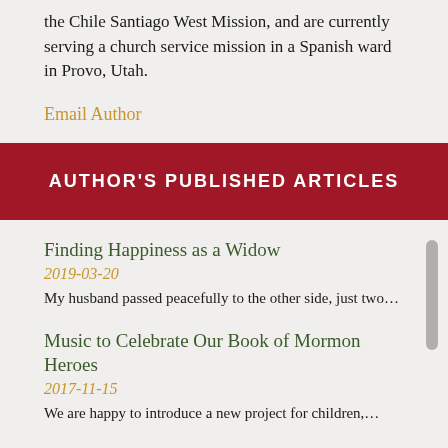the Chile Santiago West Mission, and are currently serving a church service mission in a Spanish ward in Provo, Utah.
Email Author
AUTHOR'S PUBLISHED ARTICLES
Finding Happiness as a Widow
2019-03-20
My husband passed peacefully to the other side, just two…
Music to Celebrate Our Book of Mormon Heroes
2017-11-15
We are happy to introduce a new project for children,…